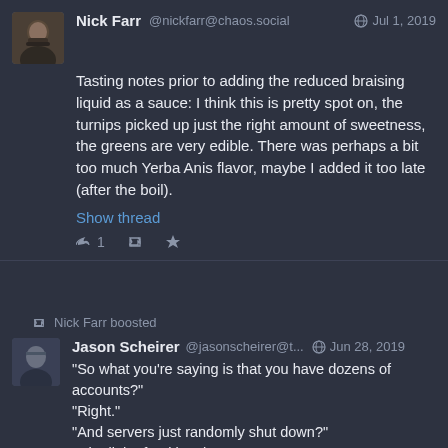[Figure (photo): Avatar photo of Nick Farr, a man with beard and suit]
Nick Farr @nickfarr@chaos.social  Jul 1, 2019
Tasting notes prior to adding the reduced braising liquid as a sauce: I think this is pretty spot on, the turnips picked up just the right amount of sweetness, the greens are very edible. There was perhaps a bit too much Yerba Anis flavor, maybe I added it too late (after the boil).
Show thread
↩ 1  🔁  ★
🔁 Nick Farr boosted
[Figure (photo): Avatar photo of Jason Scheirer]
Jason Scheirer @jasonscheirer@t...  Jun 28, 2019
"So what you're saying is that you have dozens of accounts?"
"Right."
"And servers just randomly shut down?"
"Oh all the freaking time."
"And it works?"
"Yeah, it's a lot better than Twitter actually."